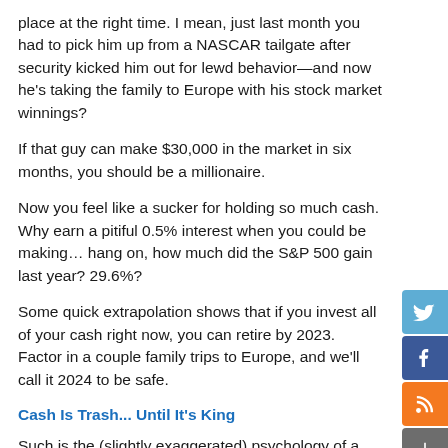place at the right time. I mean, just last month you had to pick him up from a NASCAR tailgate after security kicked him out for lewd behavior—and now he's taking the family to Europe with his stock market winnings?
If that guy can make $30,000 in the market in six months, you should be a millionaire.
Now you feel like a sucker for holding so much cash. Why earn a pitiful 0.5% interest when you could be making… hang on, how much did the S&P 500 gain last year? 29.6%?
Some quick extrapolation shows that if you invest all of your cash right now, you can retire by 2023. Factor in a couple family trips to Europe, and we'll call it 2024 to be safe.
Cash Is Trash... Until It's King
Such is the (slightly exaggerated) psychology of a bull market. FOMO is a powerful motivator and causes smart investors to do stupid things, like go all-in at the worst